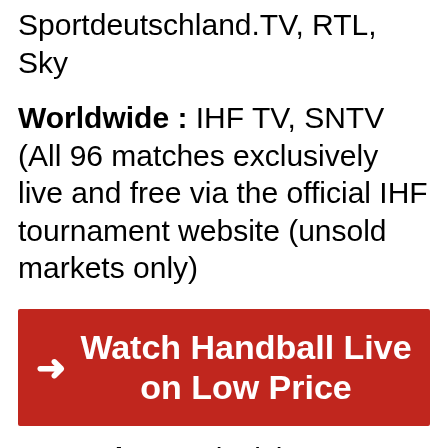Sportdeutschland.TV, RTL, Sky
Worldwide : IHF TV, SNTV (All 96 matches exclusively live and free via the official IHF tournament website (unsold markets only)
[Figure (other): Red banner button with arrow and text: Watch Handball Live on Low Price]
Argentina : Television Publica, DeporTV
Asia Pacific : Eurosport Up to 38 matches live on Eurosport 1